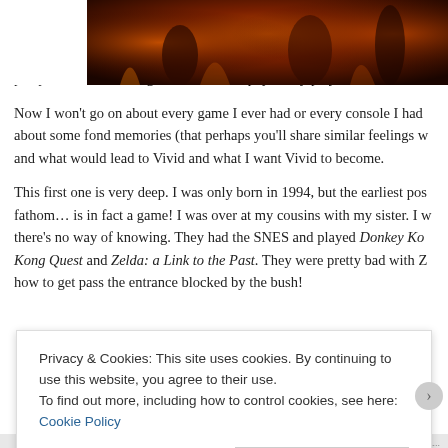When making a game you have to go off from what you know and wha... with games is a bit odd in that I didn't play that many games during my... witness several being played. But perhaps it's just my perspective sinc... about games I've never physically played.
Now I won't go on about every game I ever had or every console I had... about some fond memories (that perhaps you'll share similar feelings w... and what would lead to Vivid and what I want Vivid to become.
This first one is very deep. I was only born in 1994, but the earliest pos... fathom… is in fact a game! I was over at my cousins with my sister. I w... there's no way of knowing. They had the SNES and played Donkey Ko... Kong Quest and Zelda: a Link to the Past. They were pretty bad with Z... how to get pass the entrance blocked by the bush!
[Figure (photo): A dark, atmospheric game screenshot or artwork with orange/red fiery tones]
Privacy & Cookies: This site uses cookies. By continuing to use this website, you agree to their use. To find out more, including how to control cookies, see here: Cookie Policy
Close and accept